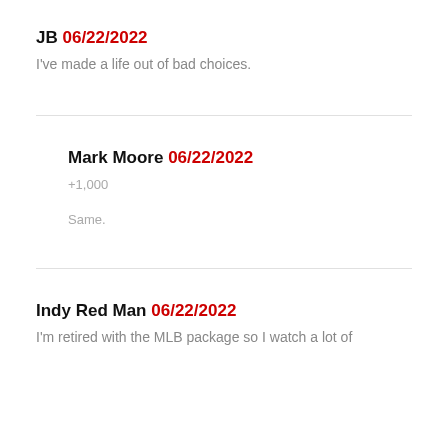JB 06/22/2022
I've made a life out of bad choices.
Mark Moore 06/22/2022
+1,000
Same.
Indy Red Man 06/22/2022
I'm retired with the MLB package so I watch a lot of